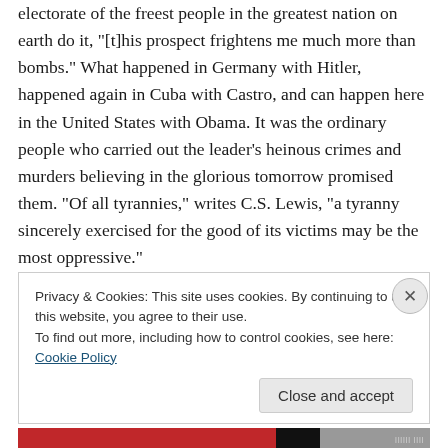electorate of the freest people in the greatest nation on earth do it, "[t]his prospect frightens me much more than bombs." What happened in Germany with Hitler, happened again in Cuba with Castro, and can happen here in the United States with Obama. It was the ordinary people who carried out the leader's heinous crimes and murders believing in the glorious tomorrow promised them. "Of all tyrannies," writes C.S. Lewis, "a tyranny sincerely exercised for the good of its victims may be the most oppressive."
The Germans had enormous war debts and a terrible
Privacy & Cookies: This site uses cookies. By continuing to use this website, you agree to their use.
To find out more, including how to control cookies, see here: Cookie Policy